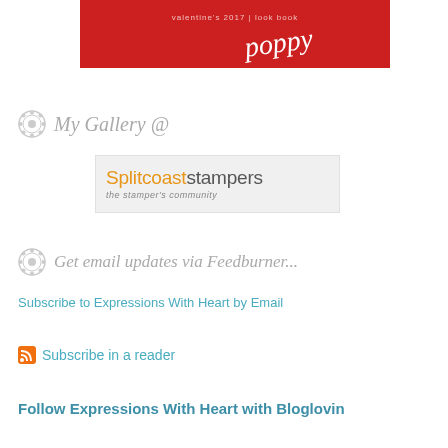[Figure (illustration): Red Valentine's 2017 look book banner with 'poppy' text in white script]
My Gallery @
[Figure (logo): Splitcoaststampers logo - 'Splitcoast' in orange and 'stampers' in gray, with tagline 'the stamper's community' on light gray background]
Get email updates via Feedburner...
Subscribe to Expressions With Heart by Email
Subscribe in a reader
Follow Expressions With Heart with Bloglovin